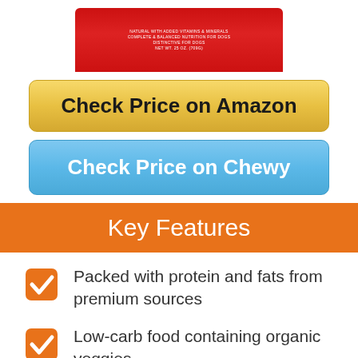[Figure (photo): Partial product image showing red dog food container lid at top of page]
Check Price on Amazon
Check Price on Chewy
Key Features
Packed with protein and fats from premium sources
Low-carb food containing organic veggies